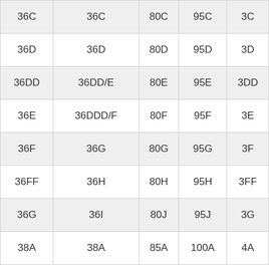| 36C | 36C | 80C | 95C | 3C |
| 36D | 36D | 80D | 95D | 3D |
| 36DD | 36DD/E | 80E | 95E | 3DD |
| 36E | 36DDD/F | 80F | 95F | 3E |
| 36F | 36G | 80G | 95G | 3F |
| 36FF | 36H | 80H | 95H | 3FF |
| 36G | 36I | 80J | 95J | 3G |
| 38A | 38A | 85A | 100A | 4A |